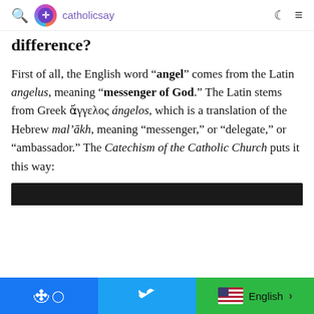catholicsay
difference?
First of all, the English word “angel” comes from the Latin angelus, meaning “messenger of God.” The Latin stems from Greek ἄγγελος ángelos, which is a translation of the Hebrew mal’ākh, meaning “messenger,” or “delegate,” or “ambassador.” The Catechism of the Catholic Church puts it this way:
Facebook  Twitter  English